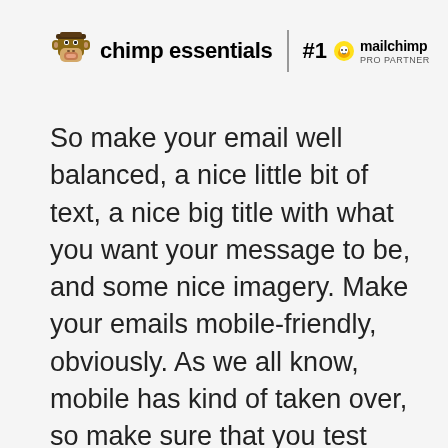[Figure (logo): Chimp Essentials logo with pixel-art monkey icon and text 'chimp essentials', a vertical divider, '#1' and Mailchimp Pro Partner badge with Mailchimp logo]
So make your email well balanced, a nice little bit of text, a nice big title with what you want your message to be, and some nice imagery. Make your emails mobile-friendly, obviously. As we all know, mobile has kind of taken over, so make sure that you test and preview your emails before sending.